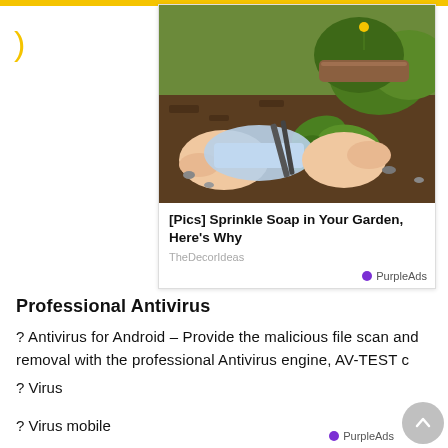[Figure (photo): Advertisement card showing hands using scissors/tool in a garden with green plants and soil, titled '[Pics] Sprinkle Soap in Your Garden, Here's Why' from TheDecorIdeas, with PurpleAds label]
[Pics] Sprinkle Soap in Your Garden, Here's Why
Professional Antivirus
? Antivirus for Android – Provide the malicious file scan and removal with the professional Antivirus engine, AV-TEST c
? Virus mobile
? Virus